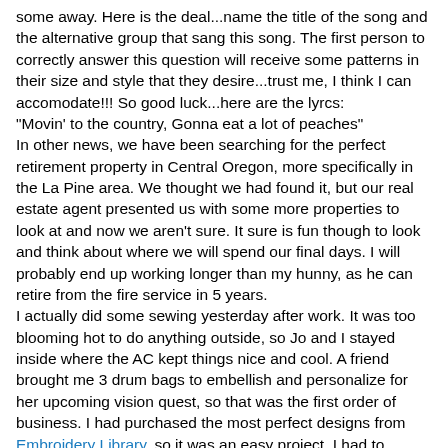some away. Here is the deal...name the title of the song and the alternative group that sang this song. The first person to correctly answer this question will receive some patterns in their size and style that they desire...trust me, I think I can accomodate!!! So good luck...here are the lyrcs: "Movin' to the country, Gonna eat a lot of peaches" In other news, we have been searching for the perfect retirement property in Central Oregon, more specifically in the La Pine area. We thought we had found it, but our real estate agent presented us with some more properties to look at and now we aren't sure. It sure is fun though to look and think about where we will spend our final days. I will probably end up working longer than my hunny, as he can retire from the fire service in 5 years. I actually did some sewing yesterday after work. It was too blooming hot to do anything outside, so Jo and I stayed inside where the AC kept things nice and cool. A friend brought me 3 drum bags to embellish and personalize for her upcoming vision quest, so that was the first order of business. I had purchased the most perfect designs from Embroidery Library, so it was an easy project. I had to search through my design archives for one of my friends who